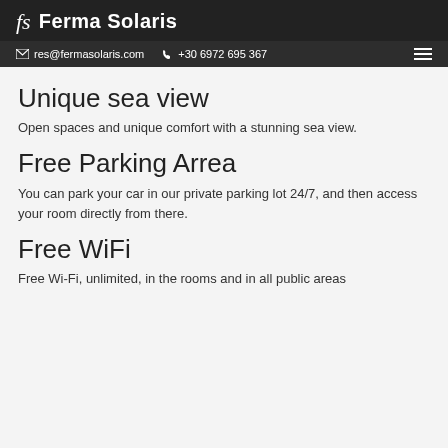Ferma Solaris
res@fermasolaris.com  +30 6972 695 367
Unique sea view
Open spaces and unique comfort with a stunning sea view.
Free Parking Arrea
You can park your car in our private parking lot 24/7, and then access your room directly from there.
Free WiFi
Free Wi-Fi, unlimited, in the rooms and in all public areas